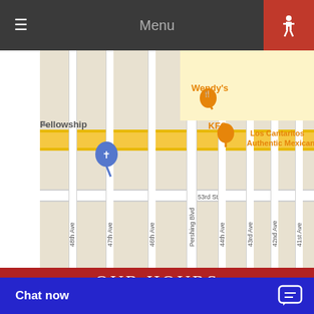Menu
[Figure (map): Google Maps screenshot showing street grid with Wendy's, KFC, and Los Cantaritos Authentic Mexican markers. Streets visible include 48th Ave, 47th Ave, 46th Ave, Pershing Blvd, 44th Ave, 43rd Ave, 42nd Ave, 41st Ave and 53rd St. Fellowship label and a church marker visible on left side.]
OUR HOURS
MON, FRI - 8:00am - 6:00pm
TUES, WED, THRS - 8:00am - 7:00pm
SAT - 8:00am - 1:00pm